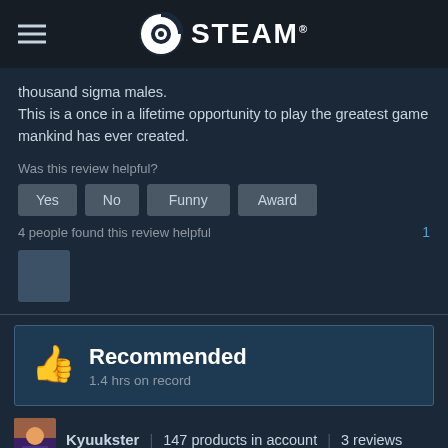STEAM
thousand sigma males.
This is a once in a lifetime opportunity to play the greatest game mankind has ever created.
Was this review helpful?
4 people found this review helpful   1
Recommended
1.4 hrs on record
Kyuukster | 147 products in account | 3 reviews
POSTED: JUNE 8   STEAM KEY
A honest review of this game